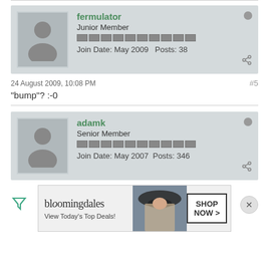fermulator
Junior Member
Join Date: May 2009   Posts: 38
24 August 2009, 10:08 PM
#5
"bump"? :-0
adamk
Senior Member
Join Date: May 2007   Posts: 346
[Figure (screenshot): Bloomingdale's advertisement banner reading 'View Today's Top Deals!' with SHOP NOW > button and woman in hat]